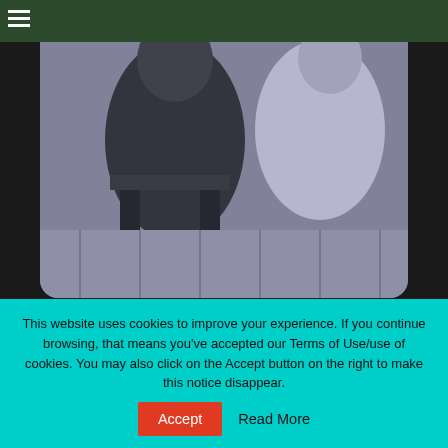[Figure (photo): Black and white vintage photograph showing two people, partially visible, one seated on what appears to be a chair or bench, in an old film still style image with slightly rounded bottom corners.]
The Canadian Movie (1926): Uneven Rustic Romance
Marred by a middling second half, William Beaudine's The Canadian is notable for its
This website uses cookies to improve your experience. If you continue browsing, that means you've accepted our Terms of Use/use of cookies. You may also click on the Accept button on the right to make this notice disappear.